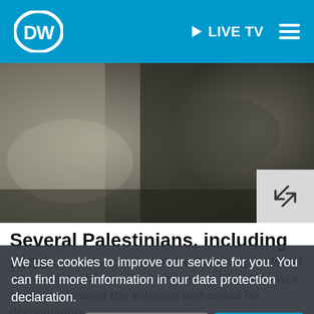[Figure (logo): DW (Deutsche Welle) logo in white circle on blue background]
▶ LIVE TV  ☰
[Figure (photo): Blurred news photo, appears to show a conflict scene with grey and brown tones]
Several Palestinians, including nine
children, have been killed in the Gaza strip as Israel responds to rockets fired by Hamas. World leaders have condemned the violence and called for deescalation.
We use cookies to improve our service for you. You can find more information in our data protection declaration.
Violent clashes continu...
Monday following days of protests against